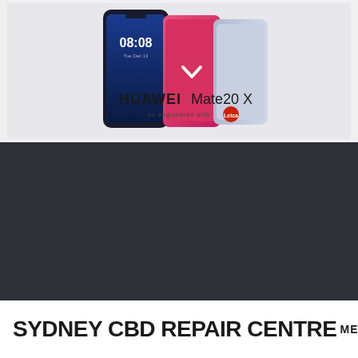[Figure (photo): Huawei Mate20 X smartphone advertisement showing two phones side by side with the text 'HUAWEI Mate20 X co-engineered with Leica', one phone displaying 08:08 time on screen, on a light gray background]
SYDNEY CBD REPAIR CENTRE
MENU ≡